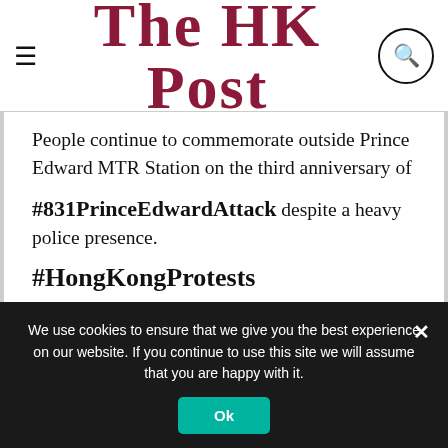The HK Post
People continue to commemorate outside Prince Edward MTR Station on the third anniversary of #831PrinceEdwardAttack despite a heavy police presence.
#HongKongProtests
inmediahknet @inmediahk
831□□□ □□□□□□□□□□□□□□□□□□□□
□
We use cookies to ensure that we give you the best experience on our website. If you continue to use this site we will assume that you are happy with it.